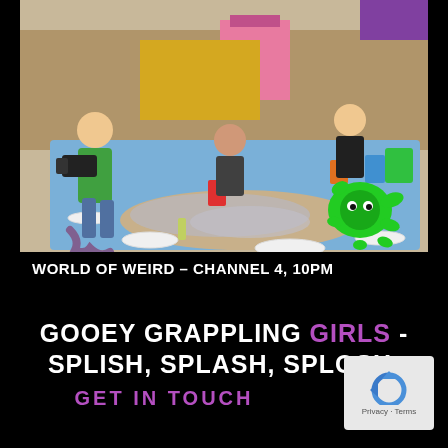[Figure (photo): Outdoor scene with people on a blue tarp. A man in green shirt films with a camera on the left. A woman in dark top sits in the middle. Another woman in black crouches on the right. A person lies on the ground covered in gooey substance. Plates, cups, buckets, and a rope visible. Green slime splat graphic overlay in bottom right. Colorful market stalls in background.]
WORLD OF WEIRD – CHANNEL 4, 10PM
GOOEY GRAPPLING GIRLS - SPLISH, SPLASH, SPLOSH.
GET IN TOUCH